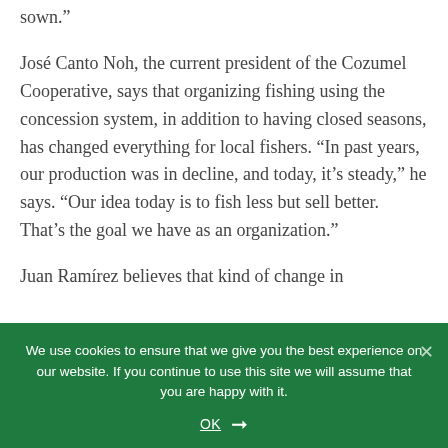sown.”
José Canto Noh, the current president of the Cozumel Cooperative, says that organizing fishing using the concession system, in addition to having closed seasons, has changed everything for local fishers. “In past years, our production was in decline, and today, it’s steady,” he says. “Our idea today is to fish less but sell better. That’s the goal we have as an organization.”
Juan Ramírez believes that kind of change in
We use cookies to ensure that we give you the best experience on our website. If you continue to use this site we will assume that you are happy with it.